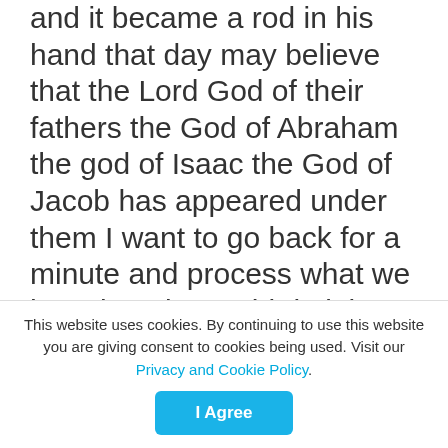and it became a rod in his hand that day may believe that the Lord God of their fathers the God of Abraham the god of Isaac the God of Jacob has appeared under them I want to go back for a minute and process what we heard God I would do it but they will not believe me was it really that they would not believe or is he imposing on them something that's really coming from him whatever you've been saying about they might really be you they won't accept me they won't love me they won't accept me they can't use me
This website uses cookies. By continuing to use this website you are giving consent to cookies being used. Visit our Privacy and Cookie Policy.